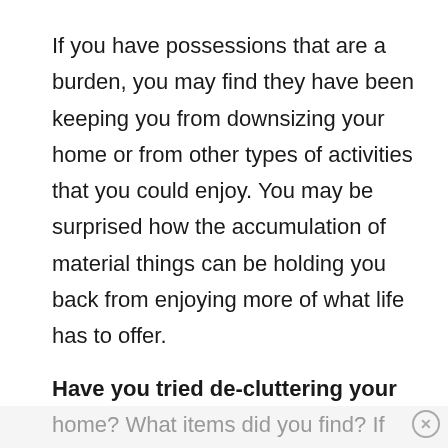If you have possessions that are a burden, you may find they have been keeping you from downsizing your home or from other types of activities that you could enjoy. You may be surprised how the accumulation of material things can be holding you back from enjoying more of what life has to offer.
Have you tried de-cluttering your
home? What items did you find? If you